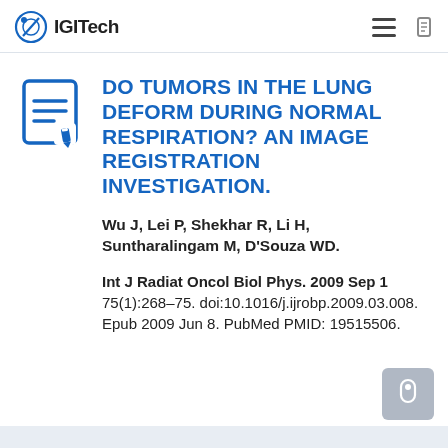IGITech
DO TUMORS IN THE LUNG DEFORM DURING NORMAL RESPIRATION? AN IMAGE REGISTRATION INVESTIGATION.
Wu J, Lei P, Shekhar R, Li H, Suntharalingam M, D'Souza WD.
Int J Radiat Oncol Biol Phys. 2009 Sep 1 75(1):268–75. doi:10.1016/j.ijrobp.2009.03.008. Epub 2009 Jun 8. PubMed PMID: 19515506.